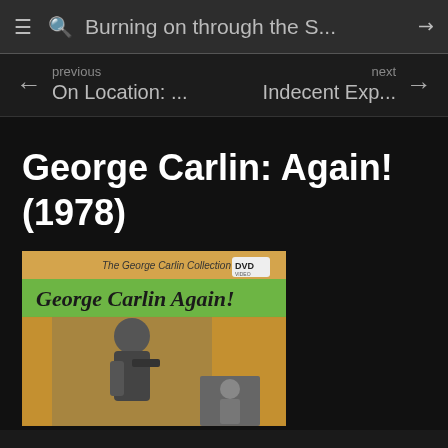≡ 🔍 Burning on through the S... ↗
← previous  On Location: ...     next  Indecent Exp... →
George Carlin: Again! (1978)
[Figure (photo): DVD cover for George Carlin: Again! — part of The George Carlin Collection. Shows a yellow/orange cover with a green banner at the top reading 'George Carlin Again!' in script lettering, with a DVD logo. Below, a black-and-white photo of George Carlin performing, with a smaller inset photo.]